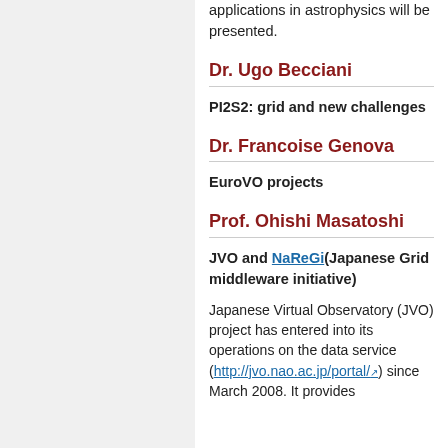applications in astrophysics will be presented.
Dr. Ugo Becciani
PI2S2: grid and new challenges
Dr. Francoise Genova
EuroVO projects
Prof. Ohishi Masatoshi
JVO and NaReGi(Japanese Grid middleware initiative)
Japanese Virtual Observatory (JVO) project has entered into its operations on the data service (http://jvo.nao.ac.jp/portal/) since March 2008. It provides